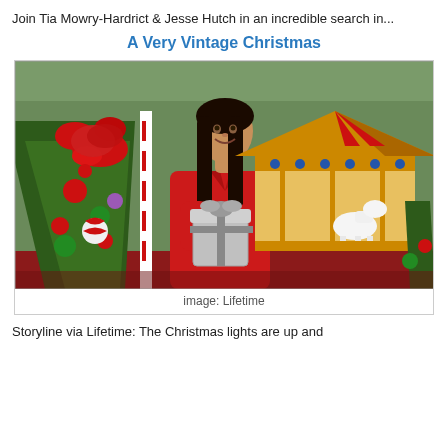Join Tia Mowry-Hardrict & Jesse Hutch in an incredible search in...
A Very Vintage Christmas
[Figure (photo): A woman in a red coat smiling and holding a small silver gift box, standing in front of a Christmas tree with ornaments and a carousel in the background.]
image: Lifetime
Storyline via Lifetime: The Christmas lights are up and